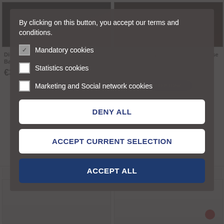[Figure (screenshot): Cookie consent modal overlay on top of a product listing page showing display cases. The modal has a dark semi-transparent background and contains cookie preference options and three buttons: DENY ALL, ACCEPT CURRENT SELECTION, and ACCEPT ALL.]
By clicking on this button, you accept our terms and conditions.
Mandatory cookies (checked)
Statistics cookies (unchecked)
Marketing and Social network cookies (unchecked)
Display Case With Black Leatherette Base 1/18 BBR
Display Case With Brown Leather Base 1/18 BBR
DENY ALL
ACCEPT CURRENT SELECTION
ACCEPT ALL